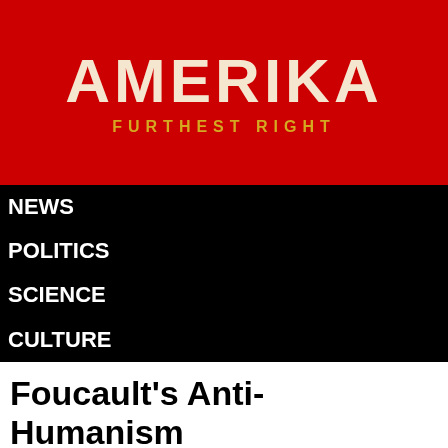AMERIKA
FURTHEST RIGHT
NEWS
POLITICS
SCIENCE
CULTURE
Foucault's Anti-Humanism (Geoff Ganaher)
by Jeff Baugh on August 1, 1970